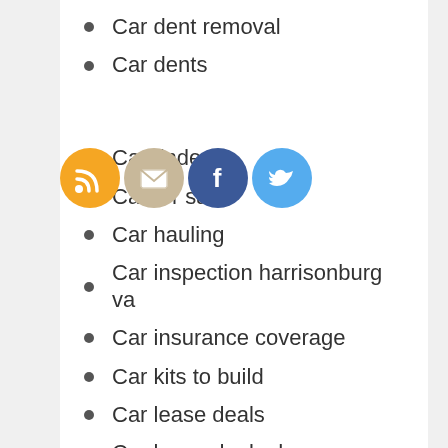Car dent removal
Car dents
Car finance leads
[Figure (illustration): Four social media icon circles: RSS (orange), Email (tan), Facebook (blue), Twitter (light blue)]
Car finder
Car for sale
Car hauling
Car inspection harrisonburg va
Car insurance coverage
Car kits to build
Car lease deals
Car lease deals denver
Car maintenance